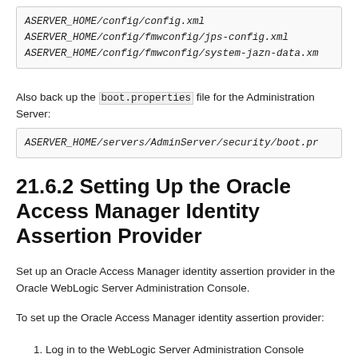[Figure (other): Code block showing three file paths: ASERVER_HOME/config/config.xml, ASERVER_HOME/config/fmwconfig/jps-config.xml, ASERVER_HOME/config/fmwconfig/system-jazn-data.xml]
Also back up the boot.properties file for the Administration Server:
[Figure (other): Code block showing file path: ASERVER_HOME/servers/AdminServer/security/boot.pr]
21.6.2 Setting Up the Oracle Access Manager Identity Assertion Provider
Set up an Oracle Access Manager identity assertion provider in the Oracle WebLogic Server Administration Console.
To set up the Oracle Access Manager identity assertion provider:
1. Log in to the WebLogic Server Administration Console